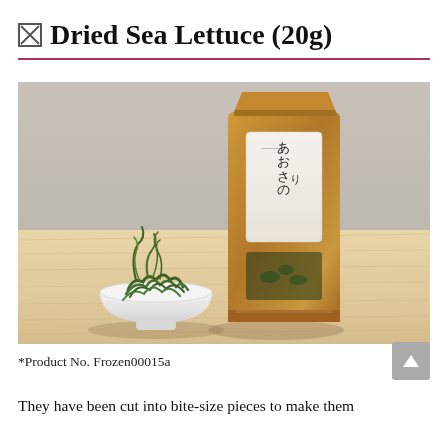Dried Sea Lettuce (20g)
[Figure (photo): A kraft paper resealable bag of dried sea lettuce with Japanese calligraphy label, next to a white square dish containing rehydrated green sea lettuce, both placed on a light wood table surface.]
*Product No. Frozen00015a
They have been cut into bite-size pieces to make them